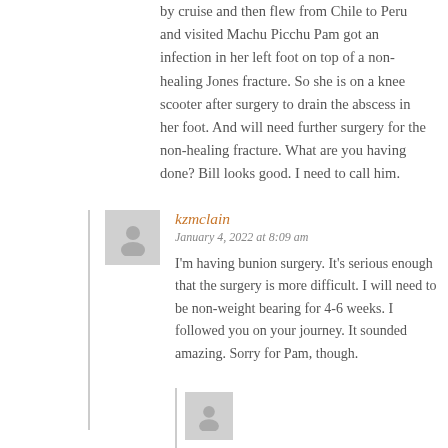by cruise and then flew from Chile to Peru and visited Machu Picchu Pam got an infection in her left foot on top of a non-healing Jones fracture. So she is on a knee scooter after surgery to drain the abscess in her foot. And will need further surgery for the non-healing fracture. What are you having done? Bill looks good. I need to call him.
kzmclain
January 4, 2022 at 8:09 am
I'm having bunion surgery. It's serious enough that the surgery is more difficult. I will need to be non-weight bearing for 4-6 weeks. I followed you on your journey. It sounded amazing. Sorry for Pam, though.